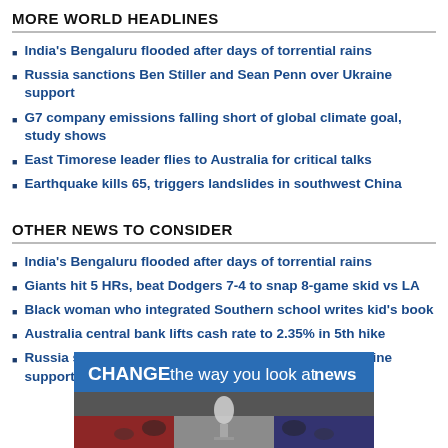MORE WORLD HEADLINES
India's Bengaluru flooded after days of torrential rains
Russia sanctions Ben Stiller and Sean Penn over Ukraine support
G7 company emissions falling short of global climate goal, study shows
East Timorese leader flies to Australia for critical talks
Earthquake kills 65, triggers landslides in southwest China
OTHER NEWS TO CONSIDER
India's Bengaluru flooded after days of torrential rains
Giants hit 5 HRs, beat Dodgers 7-4 to snap 8-game skid vs LA
Black woman who integrated Southern school writes kid's book
Australia central bank lifts cash rate to 2.35% in 5th hike
Russia sanctions Ben Stiller and Sean Penn over Ukraine support
[Figure (infographic): Advertisement banner reading 'CHANGE the way you look at news' with blue background and image of microphone and crowd below]